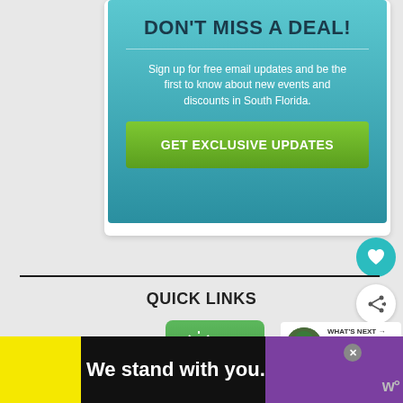DON'T MISS A DEAL!
Sign up for free email updates and be the first to know about new events and discounts in South Florida.
GET EXCLUSIVE UPDATES
QUICK LINKS
[Figure (illustration): Green tile with white sun and palm tree island icon]
WHAT'S NEXT → Boat fun & watercraft...
We stand with you.